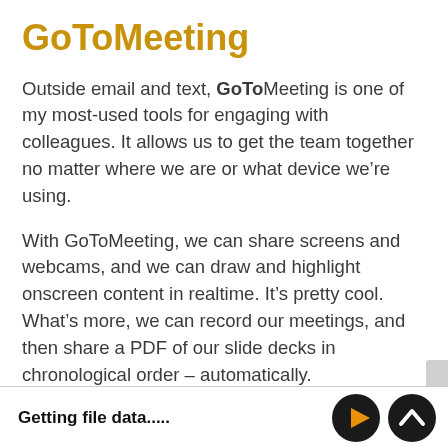GoToMeeting
Outside email and text, GoToMeeting is one of my most-used tools for engaging with colleagues. It allows us to get the team together no matter where we are or what device we’re using.
With GoToMeeting, we can share screens and webcams, and we can draw and highlight onscreen content in realtime. It’s pretty cool. What’s more, we can record our meetings, and then share a PDF of our slide decks in chronological order – automatically.
Getting file data.....